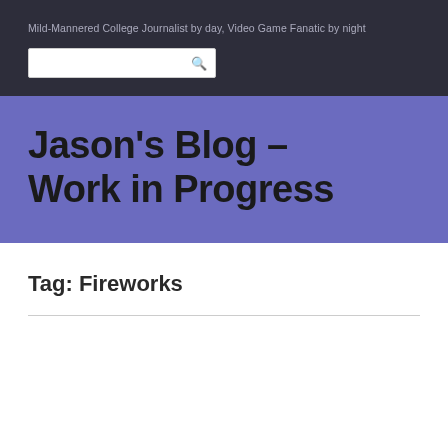Mild-Mannered College Journalist by day, Video Game Fanatic by night
Jason's Blog – Work in Progress
Tag: Fireworks